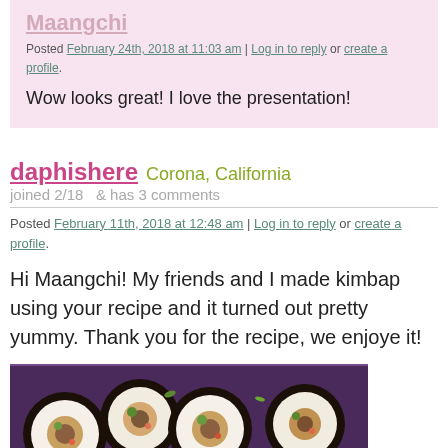Maangchi
Posted February 24th, 2018 at 11:03 am | Log in to reply or create a profile.
Wow looks great! I love the presentation!
daphishere  Corona, California  joined 2/18  & has 3 comments
Posted February 11th, 2018 at 12:48 am | Log in to reply or create a profile.
Hi Maangchi! My friends and I made kimbap using your recipe and it turned out pretty yummy. Thank you for the recipe, we enjoye it!
[Figure (photo): Photo of kimbap rolls and rice on a purple/blue tray, with a white plate below]